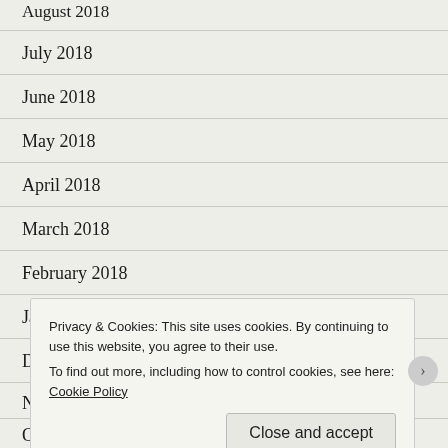August 2018
July 2018
June 2018
May 2018
April 2018
March 2018
February 2018
January 2018
December 2017
N...
O...
Privacy & Cookies: This site uses cookies. By continuing to use this website, you agree to their use.
To find out more, including how to control cookies, see here: Cookie Policy